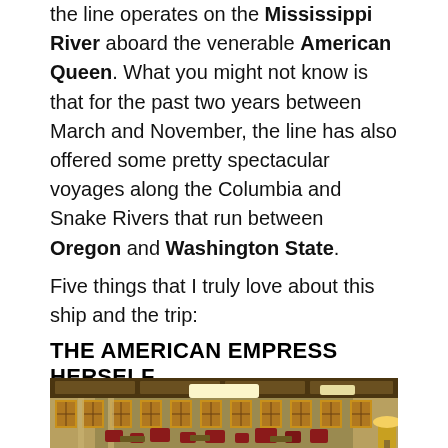the line operates on the Mississippi River aboard the venerable American Queen. What you might not know is that for the past two years between March and November, the line has also offered some pretty spectacular voyages along the Columbia and Snake Rivers that run between Oregon and Washington State.
Five things that I truly love about this ship and the trip:
THE AMERICAN EMPRESS HERSELF
[Figure (photo): Interior of the American Empress riverboat showing a grand lounge with ornate arched windows, warm wood paneling on the ceiling, a central pendant light fixture, and red upholstered furniture arranged throughout the room.]